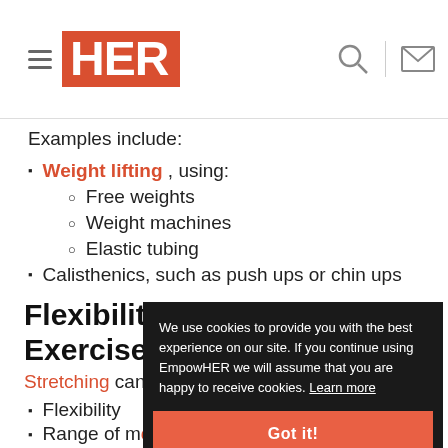HER — navigation header with hamburger menu, logo, search and mail icons
Examples include:
Weight lifting , using:
Free weights
Weight machines
Elastic tubing
Calisthenics, such as push ups or chin ups
Flexibility (Stretching) Exercise
Stretching can …
Flexibility
Range of motion
Circulation
[Figure (screenshot): Cookie consent overlay: 'We use cookies to provide you with the best experience on our site. If you continue using EmpowHER we will assume that you are happy to receive cookies. Learn more' with a 'Got it!' button]